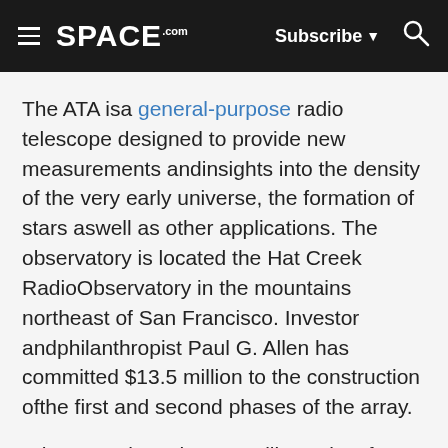≡ SPACE.com  Subscribe ▼ 🔍
The ATA isa general-purpose radio telescope designed to provide new measurements andinsights into the density of the very early universe, the formation of stars aswell as other applications. The observatory is located the Hat Creek RadioObservatory in the mountains northeast of San Francisco. Investor andphilanthropist Paul G. Allen has committed $13.5 million to the construction ofthe first and second phases of the array.
Whencomplete, the ATA will consist of 350 6.1-meter dishes. Twenty dishes are currentlyonline at the observatory with a 42-dish array total to be completed near theend of the year. Though the